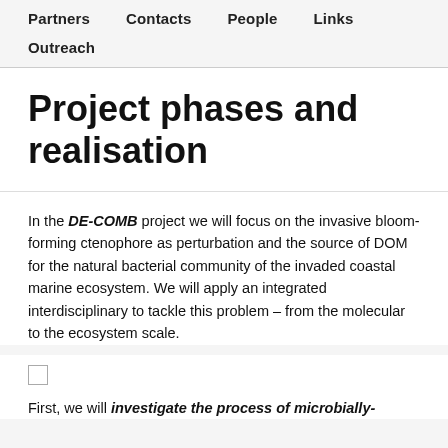Partners   Contacts   People   Links   Outreach
Project phases and realisation
In the DE-COMB project we will focus on the invasive bloom-forming ctenophore as perturbation and the source of DOM for the natural bacterial community of the invaded coastal marine ecosystem. We will apply an integrated interdisciplinary to tackle this problem – from the molecular to the ecosystem scale.
First, we will investigate the process of microbially-